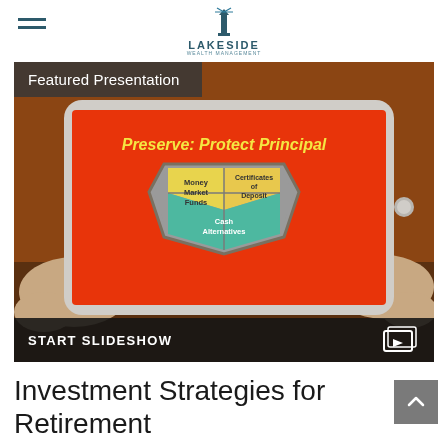LAKESIDE WEALTH MANAGEMENT
[Figure (screenshot): Featured Presentation slide shown on a tablet held by hands. The slide has an orange/rust background with a shield graphic divided into three sections: Money Market Funds (yellow, top-left), Certificates of Deposit (yellow, top-right), and Cash Alternatives (teal, bottom). The slide title reads 'Preserve: Protect Principal'. A 'START SLIDESHOW' button appears at the bottom with a slideshow icon.]
Investment Strategies for Retirement